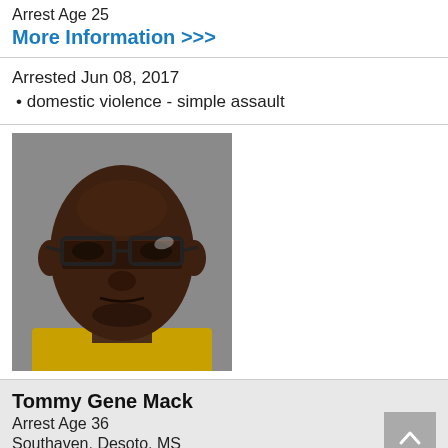Arrest Age 25
More Information >>>
Arrested Jun 08, 2017
domestic violence - simple assault
[Figure (photo): Mugshot of a young Black man wearing rectangular glasses, taken against a gray background.]
Tommy Gene Mack
Arrest Age 36
Southaven, Desoto, MS